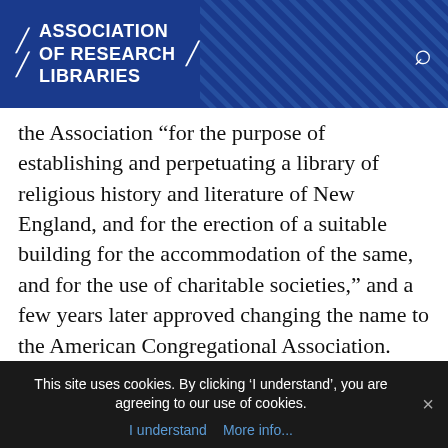ASSOCIATION OF RESEARCH LIBRARIES
the Association “for the purpose of establishing and perpetuating a library of religious history and literature of New England, and for the erection of a suitable building for the accommodation of the same, and for the use of charitable societies,” and a few years later approved changing the name to the American Congregational Association. While this is the legal name of the organization, it is currently known to its users, partners, and supporters as the Congregational Library & Archives.
As the CLA and its collection grew during the second half of the nineteenth century and the...
This site uses cookies. By clicking ‘I understand’, you are agreeing to our use of cookies.